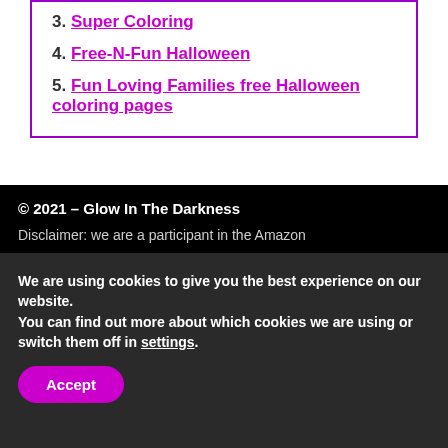3. Super Coloring
4. Free-N-Fun Halloween
5. Fun Loving Families free Halloween coloring pages
© 2021 – Glow In The Darkness
Disclaimer: we are a participant in the Amazon
We are using cookies to give you the best experience on our website.
You can find out more about which cookies we are using or switch them off in settings.